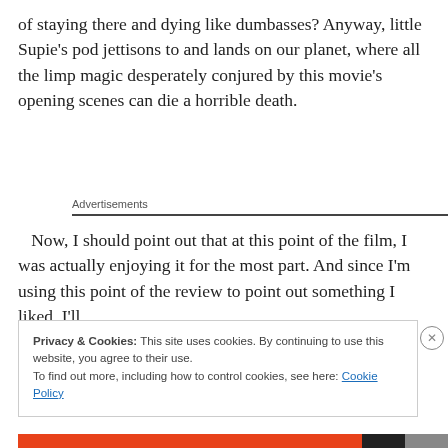of staying there and dying like dumbasses? Anyway, little Supie's pod jettisons to and lands on our planet, where all the limp magic desperately conjured by this movie's opening scenes can die a horrible death.
Advertisements
Now, I should point out that at this point of the film, I was actually enjoying it for the most part. And since I'm using this point of the review to point out something I liked, I'll
Privacy & Cookies: This site uses cookies. By continuing to use this website, you agree to their use.
To find out more, including how to control cookies, see here: Cookie Policy